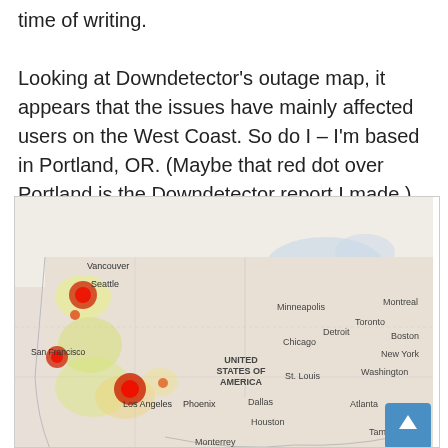time of writing.

Looking at Downdetector's outage map, it appears that the issues have mainly affected users on the West Coast. So do I – I'm based in Portland, OR. (Maybe that red dot over Portland is the Downdetector report I made.)
[Figure (map): Downdetector outage map of the United States and Canada showing red dots concentrated on the West Coast, particularly around Seattle, San Francisco/Bay Area, and Los Angeles/Southern California. City labels visible include Vancouver, Seattle, San Francisco, Los Angeles, Phoenix, Dallas, Houston, Monterrey, Minneapolis, St. Louis, Atlanta, Tampa, Chicago, Detroit, Toronto, Montreal, New York, Washington, Boston. The map background is light grey/beige with green/yellow heat overlay indicating outage concentration. A scroll-to-top button (blue, arrow up) is in the bottom-right corner.]